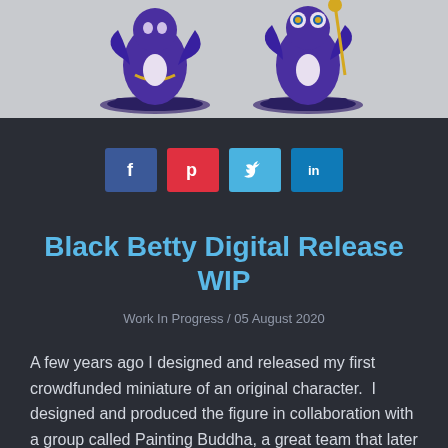[Figure (photo): Two painted miniature figurines of a purple character on a dark base, shown from different angles, against a light gray background.]
[Figure (infographic): Social sharing buttons: Facebook (blue, f), Pinterest (red, p), Twitter (light blue, bird), LinkedIn (blue, in)]
Black Betty Digital Release WIP
Work In Progress / 05 August 2020
A few years ago I designed and released my first crowdfunded miniature of an original character.  I designed and produced the figure in collaboration with a group called Painting Buddha, a great team that later disbanded.  We went back and forth on some of the